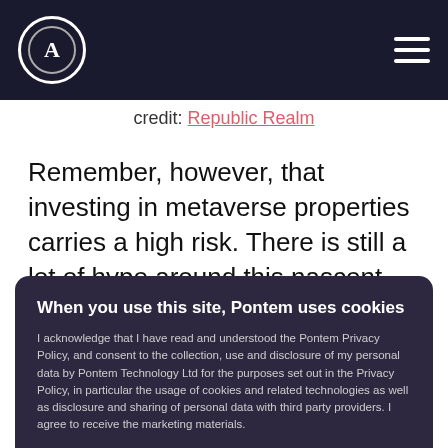[Logo] [Navigation hamburger menu]
credit: Republic Realm
Remember, however, that investing in metaverse properties carries a high risk. There is still a lot of hype around this nascent market, so land prices can be inflated, just
When you use this site, Pontem uses cookies
I acknowledge that I have read and understood the Pontem Privacy Policy, and consent to the collection, use and disclosure of my personal data by Pontem Technology Ltd for the purposes set out in the Privacy Policy, in particular the usage of cookies and related technologies as well as disclosure and sharing of personal data with third party providers. I agree to receive the marketing materials.
ACCEPT
your own research.)